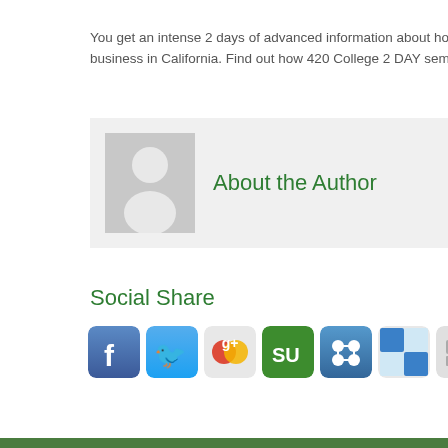You get an intense 2 days of advanced information about how to sta business in California. Find out how 420 College 2 DAY seminars can
[Figure (illustration): Author avatar placeholder — grey square with white silhouette of a person]
About the Author
Social Share
[Figure (infographic): Row of social share icon buttons: Facebook, Twitter, Google+, StumbleUpon, Friendfeed, Delicious, BoardReader, Reddit]